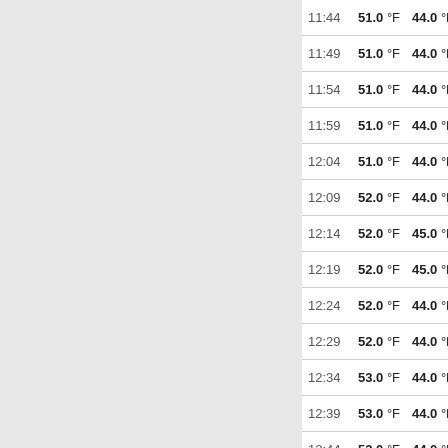| Time | Temp | Dew Point | Pressure | Wind Dir | Wind Speed |
| --- | --- | --- | --- | --- | --- |
| 11:44 | 51.0 °F | 44.0 °F | 30.2 in | SE | 5 mp |
| 11:49 | 51.0 °F | 44.0 °F | 30.2 in | SE | 7 mp |
| 11:54 | 51.0 °F | 44.0 °F | 30.2 in | WSW | 2 mp |
| 11:59 | 51.0 °F | 44.0 °F | 30.2 in | SE | 6 mp |
| 12:04 | 51.0 °F | 44.0 °F | 30.2 in | NNE | 7 mp |
| 12:09 | 52.0 °F | 44.0 °F | 30.2 in | ENE | 9 mp |
| 12:14 | 52.0 °F | 45.0 °F | 30.2 in | NE | 9 mp |
| 12:19 | 52.0 °F | 45.0 °F | 30.2 in | SE | 4 mp |
| 12:24 | 52.0 °F | 44.0 °F | 30.2 in | ESE | 6 mp |
| 12:29 | 52.0 °F | 44.0 °F | 30.2 in | ESE | 11 m |
| 12:34 | 53.0 °F | 44.0 °F | 30.2 in | ENE | 16 m |
| 12:39 | 53.0 °F | 44.0 °F | 30.2 in | ENE | 11 m |
| 12:44 | 53.0 °F | 44.0 °F | 30.2 in | ENE | 13 m |
| 12:49 | 53.0 °F | 44.0 °F | 30.2 in | ESE | 4 mp |